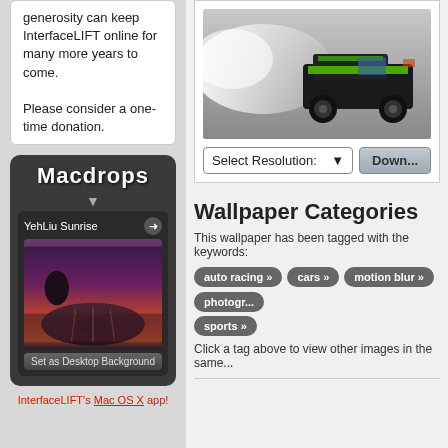generosity can keep InterfaceLIFT online for many more years to come.

Please consider a one-time donation.
[Figure (screenshot): Macdrops widget showing 'YehLiu Sunrise' landscape wallpaper with dark UI and 'Set as Desktop Background' button]
InterfaceLIFT's Mac OS X app!
[Figure (photo): Green drift car with motion blur smoke on racing track]
Select Resolution:
Down...
Wallpaper Categories
This wallpaper has been tagged with the keywords:
auto racing »
cars »
motion blur »
photogr...
sports »
Click a tag above to view other images in the same...